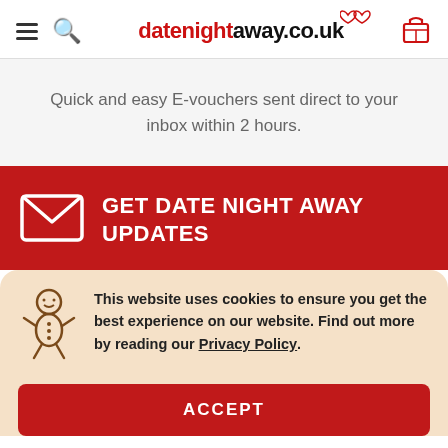datenightaway.co.uk
Quick and easy E-vouchers sent direct to your inbox within 2 hours.
GET DATE NIGHT AWAY UPDATES
This website uses cookies to ensure you get the best experience on our website. Find out more by reading our Privacy Policy.
ACCEPT